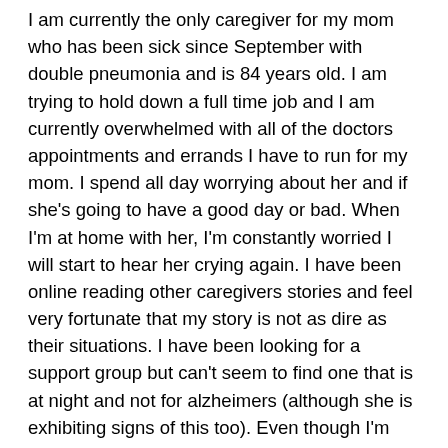I am currently the only caregiver for my mom who has been sick since September with double pneumonia and is 84 years old. I am trying to hold down a full time job and I am currently overwhelmed with all of the doctors appointments and errands I have to run for my mom. I spend all day worrying about her and if she's going to have a good day or bad. When I'm at home with her, I'm constantly worried I will start to hear her crying again. I have been online reading other caregivers stories and feel very fortunate that my story is not as dire as their situations. I have been looking for a support group but can't seem to find one that is at night and not for alzheimers (although she is exhibiting signs of this too). Even though I'm living in a fairly populated area, I would like to find a person to share with online. I feel like I'm taking all of the steps I can to get help but feel like talking with someone similar or who knows how to deal with the stress, worrying and anxiety, it would help. My health is taking a toll but there is no way I can find time